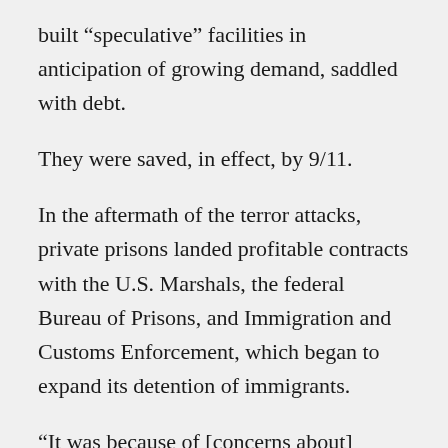built “speculative” facilities in anticipation of growing demand, saddled with debt.
They were saved, in effect, by 9/11.
In the aftermath of the terror attacks, private prisons landed profitable contracts with the U.S. Marshals, the federal Bureau of Prisons, and Immigration and Customs Enforcement, which began to expand its detention of immigrants.
“It was because of [concerns about] immigration and the uptick in federal detention contracts that they were able to survive,” said Emily Tucker, advocacy policy director